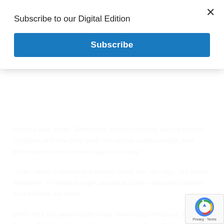Subscribe to our Digital Edition
Subscribe
Arizona Bike Week. Bennington enjoys checking out the custom choppers and how they meld “old-school craftsmanship, true elbow grease and modern-day technology.”
“That’s what choppers and custom bikes are,” he says. “It’s pretty awesome. I’m excited to get around and live vicariously through all the bikers out there.”
When he’s not perusing the hogs, Bennington heads up the Stone Temple Pilots’ new lineup featuring guitarist Dean DeLeo, bassist Robert DeLeo, drummer Eric Kretz and vocalist Bennington was revealed in May 2013 at KROQ’s annual W Roast as the new frontman.